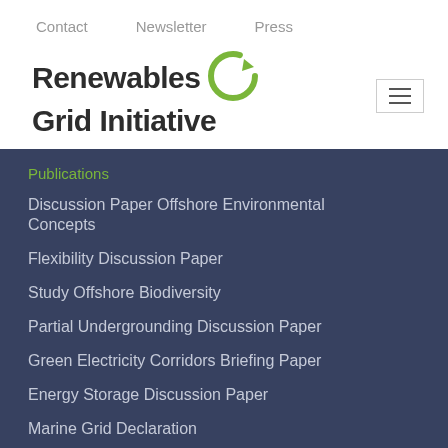Contact   Newsletter   Press
[Figure (logo): Renewables Grid Initiative logo with green circular arrow icon]
Publications
Discussion Paper Offshore Environmental Concepts
Flexibility Discussion Paper
Study Offshore Biodiversity
Partial Undergrounding Discussion Paper
Green Electricity Corridors Briefing Paper
Energy Storage Discussion Paper
Marine Grid Declaration
European Grid Declaration
The Power of Collaboration
Connected = Empowered
European Grid Report